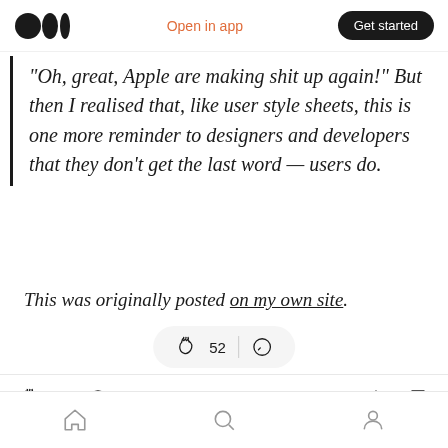Medium logo | Open in app | Get started
"Oh, great, Apple are making shit up again!" But then I realised that, like user style sheets, this is one more reminder to designers and developers that they don't get the last word — users do.
This was originally posted on my own site.
[Figure (screenshot): Reaction bar with clap icon showing 52 claps, comment icon, share icon, and bookmark-plus icon]
[Figure (screenshot): Floating pill showing clap icon, 52 count, divider, and comment icon]
Bottom navigation bar with home, search, and profile icons